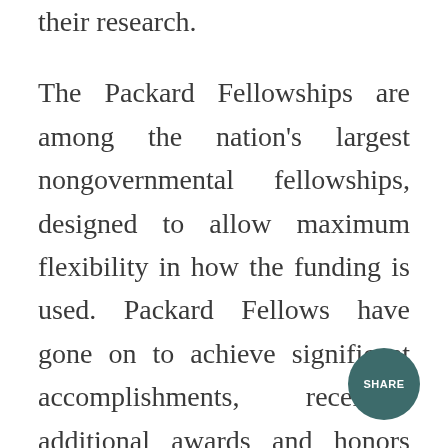their research.
The Packard Fellowships are among the nation's largest nongovernmental fellowships, designed to allow maximum flexibility in how the funding is used. Packard Fellows have gone on to achieve significant accomplishments, receiving additional awards and honors that include the Nobel Prize in Physics, the Fields Medal, the Alan T. Waterman Award, MacArthur Fellowships, and elections to the National Academies. Their work has led to impressive research outcomes, including the development of the CRISPR-Cas9 gene-editing technique, sequencing the Ebola virus genome, the creation of Bose-Einstein condensates, and